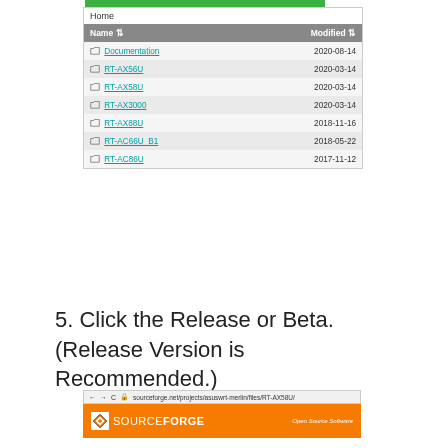[Figure (screenshot): Screenshot of a file listing on SourceForge showing folder names (Documentation, RT-AX56U, RT-AX58U, RT-AX3000, RT-AX88U, RT-AC66U_B1, RT-AC86U) with their modification dates]
5. Click the Release or Beta. (Release Version is Recommended.)
[Figure (screenshot): Screenshot of browser showing address bar with sourceforge.net/projects/asuswrt-merlin/files/RT-AX58U/ and the SourceForge orange banner with logo]